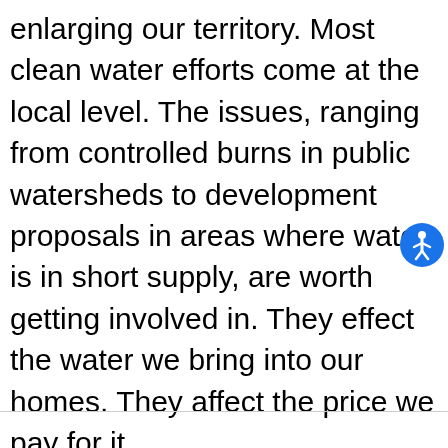enlarging our territory. Most clean water efforts come at the local level. The issues, ranging from controlled burns in public watersheds to development proposals in areas where water is in short supply, are worth getting involved in. They effect the water we bring into our homes. They affect the price we pay for it.
[Figure (other): Blue circular accessibility icon (person figure in white on blue circle) in the lower-right area of the page]